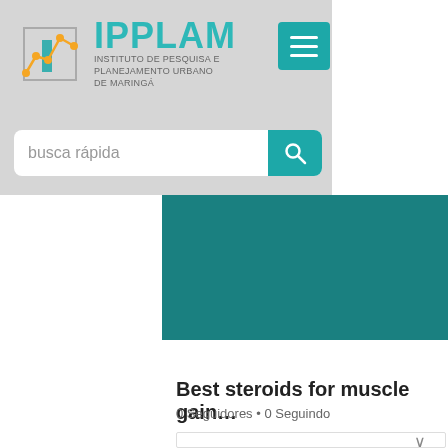[Figure (screenshot): IPPLAM website header with logo showing orange graph icon and teal IPPLAM text, subtitle 'Instituto de Pesquisa e Planejamento Urbano de Maringá', teal hamburger menu button, and search bar with 'busca rápida' placeholder]
[Figure (screenshot): Social profile page screenshot with teal banner, gray avatar circle with letter B, Mensagem and Seguir buttons, profile title 'Best steroids for muscle gain…', followers line '0 Seguidores • 0 Seguindo', and a card with chevron at bottom]